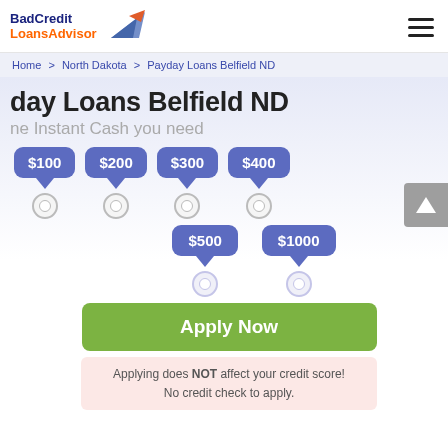[Figure (logo): BadCreditLoansAdvisor logo with blue and orange text and a blue/orange bird/arrow icon]
Home > North Dakota > Payday Loans Belfield ND
day Loans Belfield ND
ne Instant Cash you need
[Figure (infographic): Loan amount selector with blue pill buttons: $100, $200, $300, $400, $500, $1000, each with a radio button below. A green Apply Now button. A notice box saying 'Applying does NOT affect your credit score! No credit check to apply.']
Applying does NOT affect your credit score!
No credit check to apply.